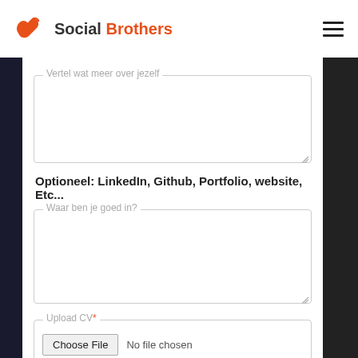[Figure (logo): Social Brothers logo with orange icon and text]
Vertel wat meer over jezelf
Optioneel: LinkedIn, Github, Portfolio, website, Etc...
Waar ben je goed in?
Upload CV*
Choose File  No file chosen